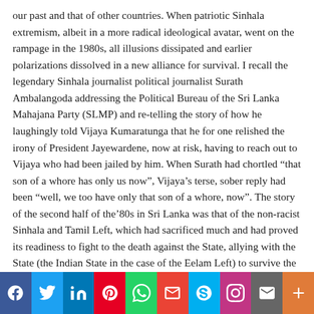our past and that of other countries. When patriotic Sinhala extremism, albeit in a more radical ideological avatar, went on the rampage in the 1980s, all illusions dissipated and earlier polarizations dissolved in a new alliance for survival. I recall the legendary Sinhala journalist political journalist Surath Ambalangoda addressing the Political Bureau of the Sri Lanka Mahajana Party (SLMP) and re-telling the story of how he laughingly told Vijaya Kumaratunga that he for one relished the irony of President Jayewardene, now at risk, having to reach out to Vijaya who had been jailed by him. When Surath had chortled “that son of a whore has only us now”, Vijaya’s terse, sober reply had been “well, we too have only that son of a whore, now”. The story of the second half of the‘80s in Sri Lanka was that of the non-racist Sinhala and Tamil Left, which had sacrificed much and had proved its readiness to fight to the death against the State, allying with the State (the Indian State in the case of the Eelam Left) to survive the onslaught
[Figure (infographic): Social media sharing bar with icons: Facebook (blue), Twitter (light blue), LinkedIn (dark blue), Pinterest (red), WhatsApp (green), Gmail/Google (red with M), Skype (blue with S), Instagram (purple), Mail (grey), More (orange with plus)]